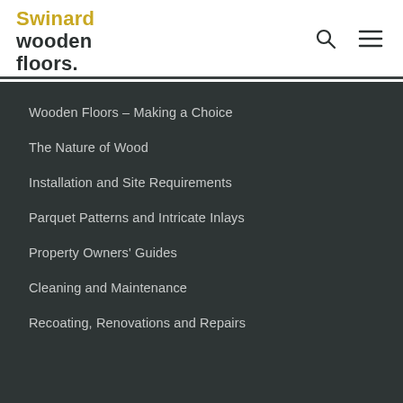[Figure (logo): Swinard wooden floors logo with yellow 'Swinard' text and dark gray 'wooden floors.' text]
Wooden Floors – Making a Choice
The Nature of Wood
Installation and Site Requirements
Parquet Patterns and Intricate Inlays
Property Owners' Guides
Cleaning and Maintenance
Recoating, Renovations and Repairs